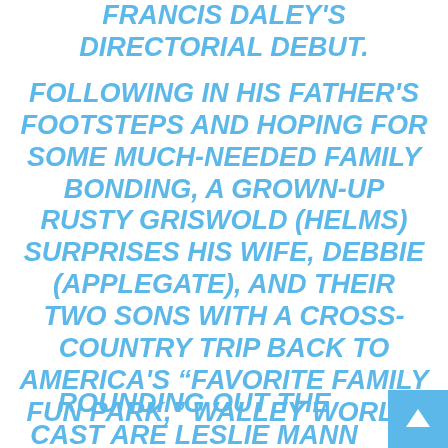FRANCIS DALEY'S DIRECTORIAL DEBUT.
FOLLOWING IN HIS FATHER'S FOOTSTEPS AND HOPING FOR SOME MUCH-NEEDED FAMILY BONDING, A GROWN-UP RUSTY GRISWOLD (HELMS) SURPRISES HIS WIFE, DEBBIE (APPLEGATE), AND THEIR TWO SONS WITH A CROSS-COUNTRY TRIP BACK TO AMERICA'S “FAVORITE FAMILY FUN PARK,” WALLEY WORLD.
ROUNDING OUT THE CAST ARE LESLIE MANN (“THE OTHER